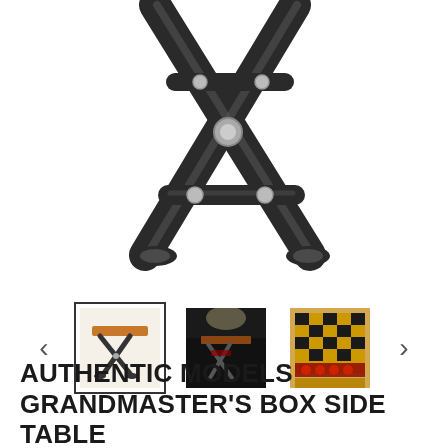[Figure (photo): Close-up photo of an X-frame folding table base/stand with dark wood and chrome metal hardware, shown from below on a white background. The X-shaped crossed legs with metal bolt hardware are prominently visible.]
[Figure (photo): Thumbnail carousel with three product photos of the Grandmaster's Box Side Table and navigation arrows. First thumbnail (selected/highlighted with border): small side table with orange/wood top and X-frame legs. Second thumbnail: dark room scene with the table. Third thumbnail: close-up of checkerboard game surface.]
AUTHENTIC MODELS GRANDMASTER'S BOX SIDE TABLE